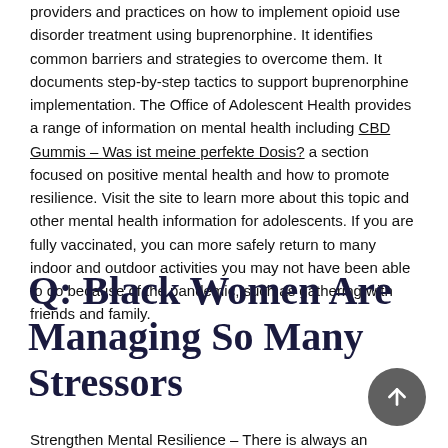providers and practices on how to implement opioid use disorder treatment using buprenorphine. It identifies common barriers and strategies to overcome them. It documents step-by-step tactics to support buprenorphine implementation. The Office of Adolescent Health provides a range of information on mental health including CBD Gummis – Was ist meine perfekte Dosis? a section focused on positive mental health and how to promote resilience. Visit the site to learn more about this topic and other mental health information for adolescents. If you are fully vaccinated, you can more safely return to many indoor and outdoor activities you may not have been able to do because of the pandemic, such as gathering with friends and family.
Q: Black Women Are Managing So Many Stressors
Strengthen Mental Resilience – There is always an